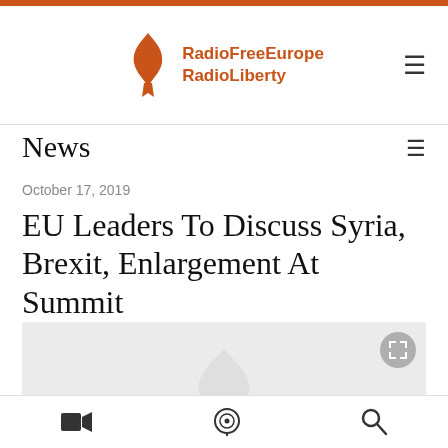RadioFreeEurope RadioLiberty
News
October 17, 2019
EU Leaders To Discuss Syria, Brexit, Enlargement At Summit
[Figure (photo): Image placeholder with RFE/RL logo watermark and fullscreen button]
Bottom navigation bar with video, podcast, and search icons